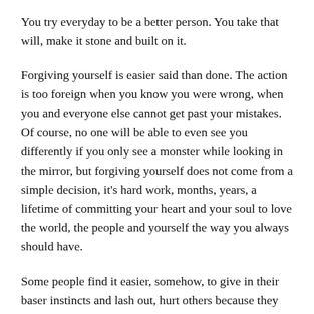You try everyday to be a better person. You take that will, make it stone and built on it.
Forgiving yourself is easier said than done. The action is too foreign when you know you were wrong, when you and everyone else cannot get past your mistakes. Of course, no one will be able to even see you differently if you only see a monster while looking in the mirror, but forgiving yourself does not come from a simple decision, it’s hard work, months, years, a lifetime of committing your heart and your soul to love the world, the people and yourself the way you always should have.
Some people find it easier, somehow, to give in their baser instincts and lash out, hurt others because they have been hurt first. Some people destroy others just to built themselves up, they disrespect, disparage, and